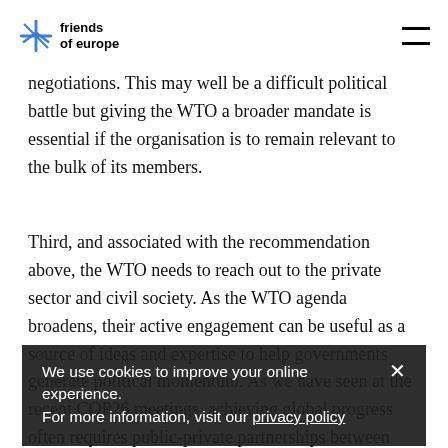friends of europe [logo] [hamburger menu]
negotiations. This may well be a difficult political battle but giving the WTO a broader mandate is essential if the organisation is to remain relevant to the bulk of its members.
Third, and associated with the recommendation above, the WTO needs to reach out to the private sector and civil society. As the WTO agenda broadens, their active engagement can be useful as a source of ideas and expertise to help governments generate political momentum. As we have seen at the recent COP26 meetings, achieving global progress often requires public-private partnerships between governments, NGOs, civil advocacy groups and private
We use cookies to improve your online experience.
For more information, visit our privacy policy